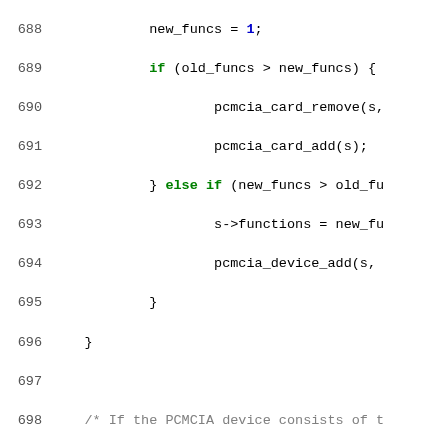[Figure (screenshot): Source code listing (C language) showing lines 688-714 of a PCMCIA driver, with syntax highlighting: green bold for keywords, gray for comments, blue for numeric literals, red for string literals, and red bold for preprocessor directives. Line numbers are shown on the left in gray.]